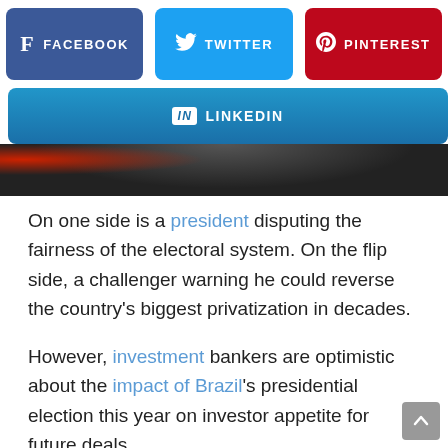[Figure (infographic): Social sharing buttons row: Facebook (blue), Twitter (cyan), Pinterest (red)]
[Figure (infographic): LinkedIn sharing button (blue, full width)]
[Figure (photo): Partial photo strip showing blurred faces with red and dark tones]
On one side is a president disputing the fairness of the electoral system. On the flip side, a challenger warning he could reverse the country's biggest privatization in decades.
However, investment bankers are optimistic about the impact of Brazil's presidential election this year on investor appetite for future deals.